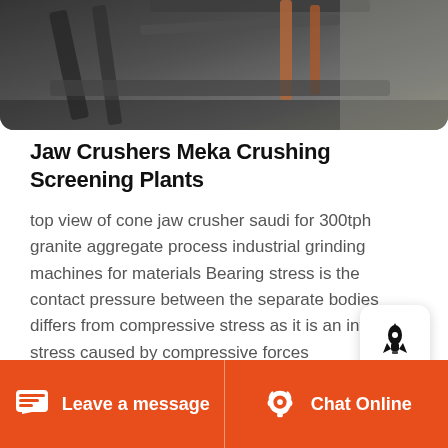[Figure (photo): Top view of industrial jaw/cone crusher equipment, metal structural components visible against a concrete background]
Jaw Crushers Meka Crushing Screening Plants
top view of cone jaw crusher saudi for 300tph granite aggregate process industrial grinding machines for materials Bearing stress is the contact pressure between the separate bodies differs from compressive stress as it is an internal stress caused by compressive forces
[Figure (photo): Bottom portion showing another piece of crushing/screening equipment, partial view]
Leave a message  Chat Online